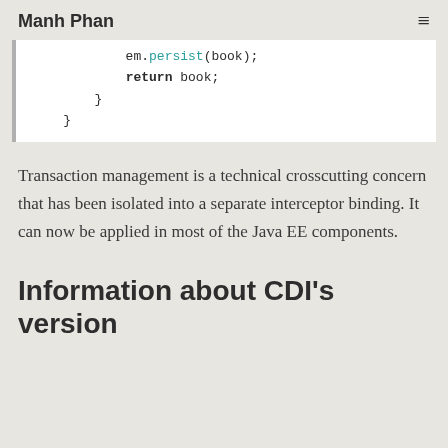Manh Phan
[Figure (screenshot): Code block showing Java code: em.persist(book); return book; closing braces]
Transaction management is a technical crosscutting concern that has been isolated into a separate interceptor binding. It can now be applied in most of the Java EE components.
Information about CDI's version